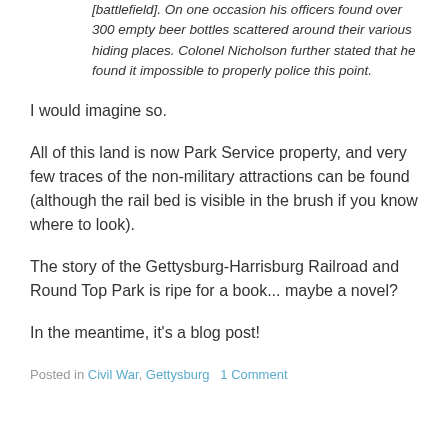[battlefield]. On one occasion his officers found over 300 empty beer bottles scattered around their various hiding places. Colonel Nicholson further stated that he found it impossible to properly police this point.
I would imagine so.
All of this land is now Park Service property, and very few traces of the non-military attractions can be found (although the rail bed is visible in the brush if you know where to look).
The story of the Gettysburg-Harrisburg Railroad and Round Top Park is ripe for a book... maybe a novel?
In the meantime, it's a blog post!
Posted in Civil War, Gettysburg   1 Comment